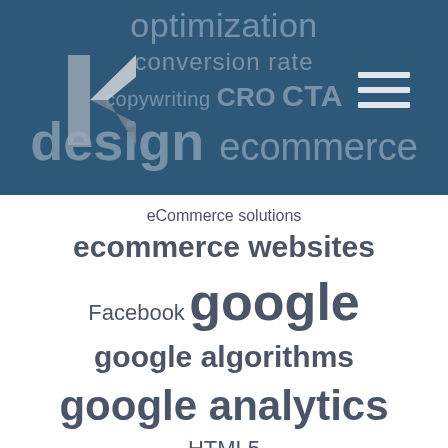[Figure (other): Website header with dark teal background, geometric logo (angular K shape in silver/grey), hamburger menu icon top right, and faded word cloud text in background showing terms: optimization, conversion rate, copywriting, CRO, CTA, design, ecommerce]
eCommerce solutions ecommerce websites Facebook google google algorithms google analytics HTML5 information architecture maintenance marketing mobile rebranding redevelopment responsive design screen capturing screen sharing search engine optimisation